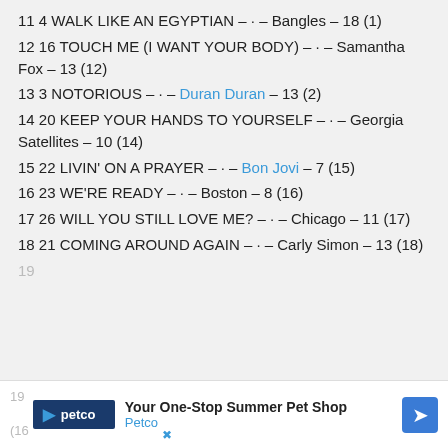11 4 WALK LIKE AN EGYPTIAN – · – Bangles – 18 (1)
12 16 TOUCH ME (I WANT YOUR BODY) – · – Samantha Fox – 13 (12)
13 3 NOTORIOUS – · – Duran Duran – 13 (2)
14 20 KEEP YOUR HANDS TO YOURSELF – · – Georgia Satellites – 10 (14)
15 22 LIVIN' ON A PRAYER – · – Bon Jovi – 7 (15)
16 23 WE'RE READY – · – Boston – 8 (16)
17 26 WILL YOU STILL LOVE ME? – · – Chicago – 11 (17)
18 21 COMING AROUND AGAIN – · – Carly Simon – 13 (18)
19 … 3 (19…
[Figure (other): Advertisement banner for Petco: 'Your One-Stop Summer Pet Shop – Petco']